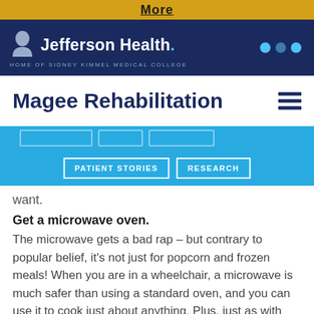More
[Figure (logo): Jefferson Health logo with text 'Jefferson Health.' and tagline 'HOME OF SIDNEY KIMMEL MEDICAL COLLEGE' on navy background with navigation dots]
Magee Rehabilitation
[Figure (screenshot): Blue navigation bar with menu buttons: PATIENT STORIES, RESEARCH, and partially visible tab buttons above]
want.
Get a microwave oven.
The microwave gets a bad rap – but contrary to popular belief, it's not just for popcorn and frozen meals! When you are in a wheelchair, a microwave is much safer than using a standard oven, and you can use it to cook just about anything. Plus, just as with anything, there are different levels of microwaves. A nicer one will run you more, but it will also give you